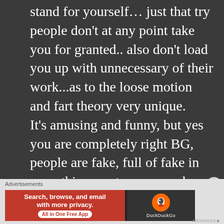stand for yourself… just that try people don't at any point take you for granted.. also don't load you up with unnecessary of their work...as to the loose motion and fart theory very unique. It's amusing and funny, but yes you are completely right BG, people are fake, full of fake in everything...as to you..you have accepted yourself the way you are...happy about it..stand for yourself.... and the biggest
[Figure (other): DuckDuckGo advertisement banner with orange left panel saying 'Search, browse, and email with more privacy. All in One Free App' and dark right panel with DuckDuckGo duck logo]